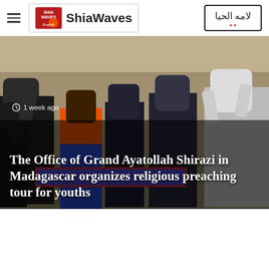ShiaWaves
[Figure (photo): Crowd of people gathered outdoors, some wearing colorful traditional clothing, photographed in daylight. The image serves as the hero/banner for the news article.]
1 week ago
The Office of Grand Ayatollah Shirazi in Madagascar organizes religious preaching tour for youths